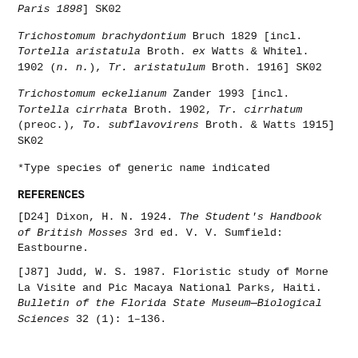Paris 1898] SK02
Trichostomum brachydontium Bruch 1829 [incl. Tortella aristatula Broth. ex Watts & Whitel. 1902 (n. n.), Tr. aristatulum Broth. 1916] SK02
Trichostomum eckelianum Zander 1993 [incl. Tortella cirrhata Broth. 1902, Tr. cirrhatum (preoc.), To. subflavovirens Broth. & Watts 1915] SK02
*Type species of generic name indicated
REFERENCES
[D24] Dixon, H. N. 1924. The Student's Handbook of British Mosses 3rd ed. V. V. Sumfield: Eastbourne.
[J87] Judd, W. S. 1987. Floristic study of Morne La Visite and Pic Macaya National Parks, Haiti. Bulletin of the Florida State Museum—Biological Sciences 32 (1): 1–136.